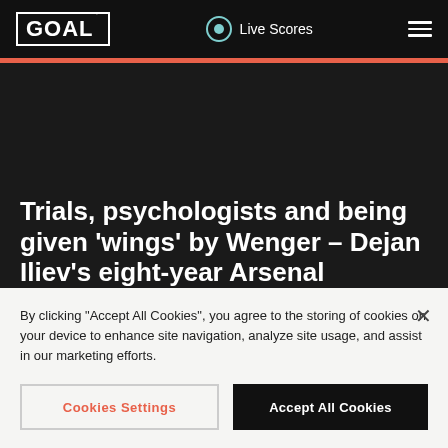GOAL · Live Scores
Trials, psychologists and being given 'wings' by Wenger - Dejan Iliev's eight-year Arsenal rollercoaster
By clicking "Accept All Cookies", you agree to the storing of cookies on your device to enhance site navigation, analyze site usage, and assist in our marketing efforts.
Cookies Settings | Accept All Cookies